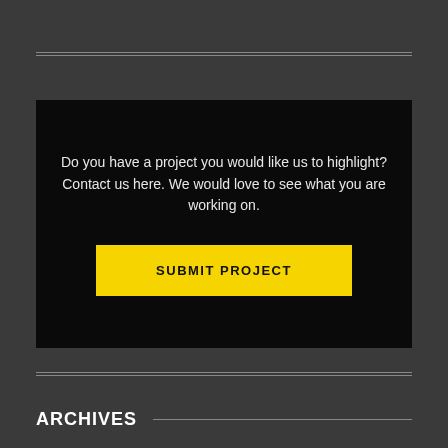Do you have a project you would like us to highlight? Contact us here. We would love to see what you are working on.
SUBMIT PROJECT
ARCHIVES